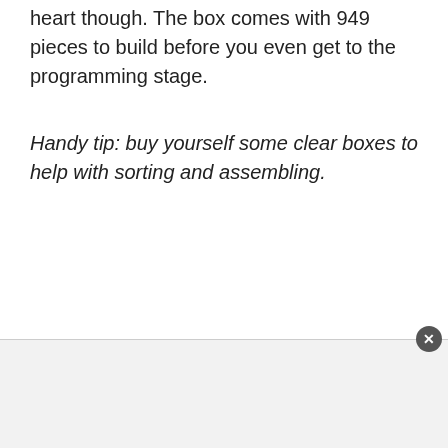heart though. The box comes with 949 pieces to build before you even get to the programming stage.
Handy tip: buy yourself some clear boxes to help with sorting and assembling.